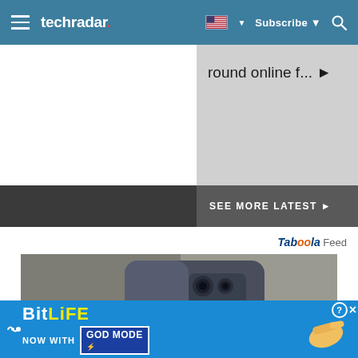techradar | Subscribe | Search
round online f... ▶
SEE MORE LATEST ▶
Taboola Feed
[Figure (photo): Back view of a Motorola smartphone placed on a stone/concrete surface, showing camera module with multiple lenses]
[Figure (other): BitLife ad banner - NOW WITH GOD MODE - with thumbs pointing graphic and X close button]